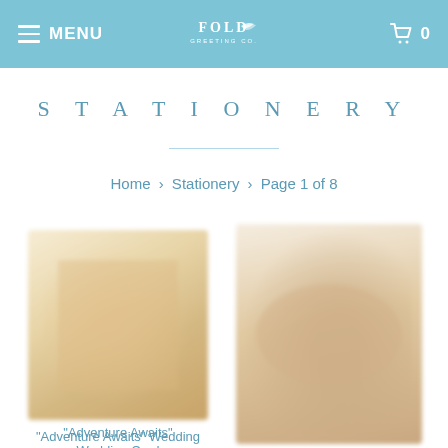MENU | FOLD (logo) | 0 (cart)
STATIONERY
Home > Stationery > Page 1 of 8
[Figure (photo): Blurred product image of 'Adventure Awaits' Wedding Card]
"Adventure Awaits" Wedding Card
$5.00
[Figure (photo): Blurred product image of 'Fact: You're' greeting card]
"Fact: You're